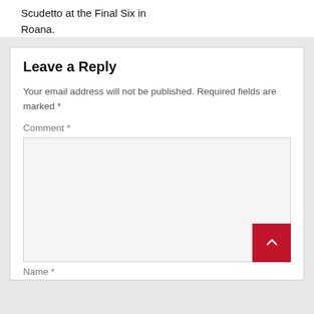Scudetto at the Final Six in Roana.
Leave a Reply
Your email address will not be published. Required fields are marked *
Comment *
Name *